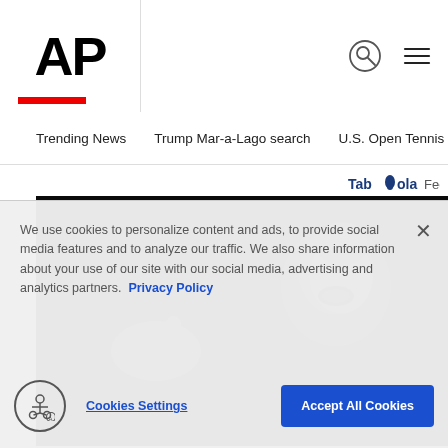AP
Trending News   Trump Mar-a-Lago search   U.S. Open Tennis
Taboola Feed
[Figure (photo): A man pointing and speaking with mouth open against a dark background]
We use cookies to personalize content and ads, to provide social media features and to analyze our traffic. We also share information about your use of our site with our social media, advertising and analytics partners. Privacy Policy
Cookies Settings   Accept All Cookies